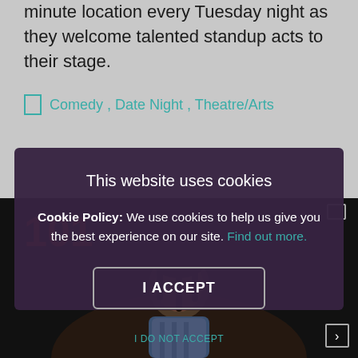minute location every Tuesday night as they welcome talented standup acts to their stage.
Comedy , Date Night , Theatre/Arts
[Figure (photo): A person performing standup comedy on a dark stage with red logo text in background]
This website uses cookies
Cookie Policy: We use cookies to help us give you the best experience on our site. Find out more.
I ACCEPT
I DO NOT ACCEPT